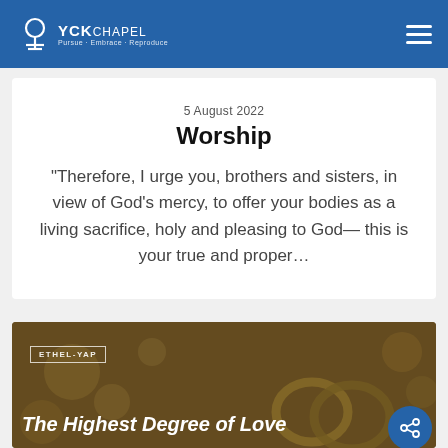YCKCHAPEL
5 August 2022
Worship
“Therefore, I urge you, brothers and sisters, in view of God’s mercy, to offer your bodies as a living sacrifice, holy and pleasing to God—this is your true and proper…
[Figure (photo): A blurred bokeh background with wedding rings in the foreground, overlaid with text 'ETHEL-YAP' and 'The Highest Degree of Love']